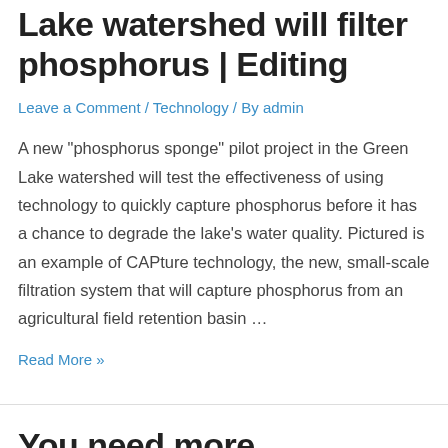Lake watershed will filter phosphorus | Editing
Leave a Comment / Technology / By admin
A new “phosphorus sponge” pilot project in the Green Lake watershed will test the effectiveness of using technology to quickly capture phosphorus before it has a chance to degrade the lake’s water quality. Pictured is an example of CAPture technology, the new, small-scale filtration system that will capture phosphorus from an agricultural field retention basin …
Read More »
You need more technology — Mackenzie Jones | Letters to